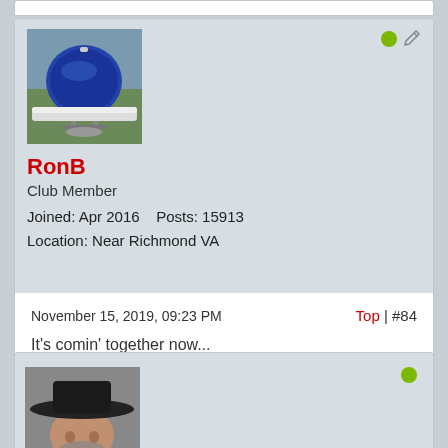[Figure (photo): Avatar photo of a blue kettle grill (Weber style) outdoors]
RonB
Club Member
Joined: Apr 2016    Posts: 15913
Location: Near Richmond VA
November 15, 2019, 09:23 PM
Top | #84
It's comin' together now...
[Figure (photo): Partial avatar photo of a man wearing a wide-brimmed black hat]